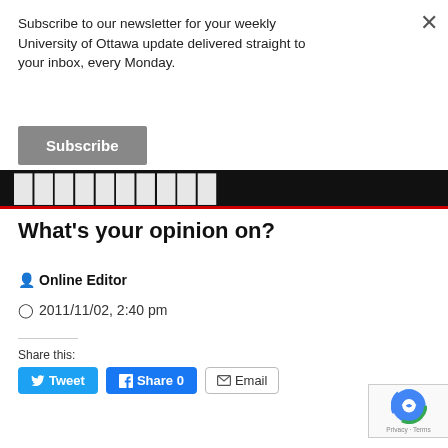Subscribe to our newsletter for your weekly University of Ottawa update delivered straight to your inbox, every Monday.
Subscribe
[Figure (screenshot): Dark banner with white bold text partially visible, with a red bottom border]
What's your opinion on?
Online Editor
2011/11/02, 2:40 pm
Share this:
Tweet  Share 0  Email